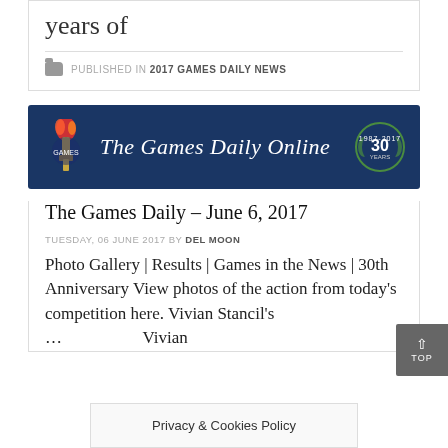years of
PUBLISHED IN 2017 GAMES DAILY NEWS
[Figure (logo): The Games Daily Online banner with torch logo on left, site title in old-english font in center, and 30 Years anniversary badge on right, on dark navy background]
The Games Daily – June 6, 2017
TUESDAY, 06 JUNE 2017 BY DEL MOON
Photo Gallery | Results | Games in the News | 30th Anniversary View photos of the action from today's competition here. Vivian Stancil's … Vivian
Privacy & Cookies Policy